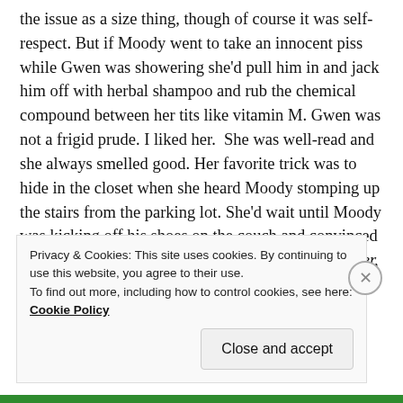the issue as a size thing, though of course it was self-respect. But if Moody went to take an innocent piss while Gwen was showering she'd pull him in and jack him off with herbal shampoo and rub the chemical compound between her tits like vitamin M. Gwen was not a frigid prude. I liked her.  She was well-read and she always smelled good. Her favorite trick was to hide in the closet when she heard Moody stomping up the stairs from the parking lot. She'd wait until Moody was kicking off his shoes on the couch and convinced he was alone and suddenly sing come and get it, tiger,  from the dark of the closet and slide the door closed after Moody came in. She'd grip the thick spruce overhead closet rod swaying while Moody pounded her
Privacy & Cookies: This site uses cookies. By continuing to use this website, you agree to their use.
To find out more, including how to control cookies, see here: Cookie Policy
Close and accept